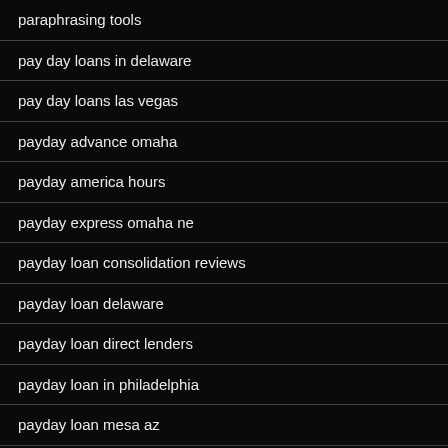paraphrasing tools
pay day loans in delaware
pay day loans las vegas
payday advance omaha
payday america hours
payday express omaha ne
payday loan consolidation reviews
payday loan delaware
payday loan direct lenders
payday loan in philadelphia
payday loan mesa az
payday loan near me
payday loan ohio online